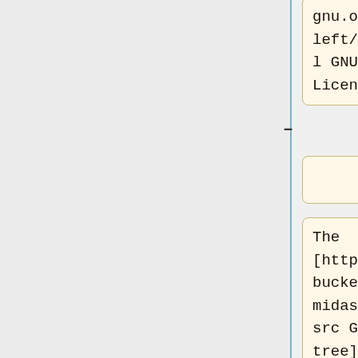gnu.org/copyleft/gpl.html GNU Public License]
The [https://bitbucket.org/tmidas/midas/src GIT tree] is available via a web interface.
Using this interface, the most recent file versions can be obtained.